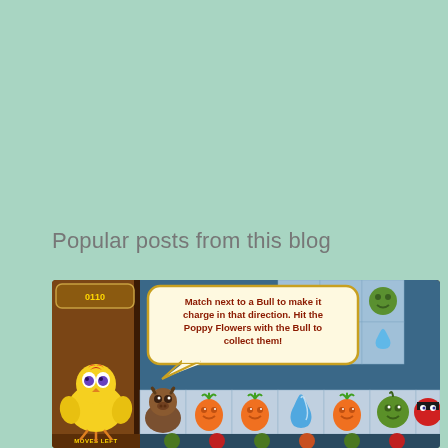Popular posts from this blog
[Figure (screenshot): Screenshot of a mobile match-3 puzzle game showing a game board with fruit and vegetable characters (carrots, water drops, green apples, tomatoes), a bull character on the board, a yellow chick character on the left side, and a speech bubble tutorial message: 'Match next to a Bull to make it charge in that direction. Hit the Poppy Flowers with the Bull to collect them!']